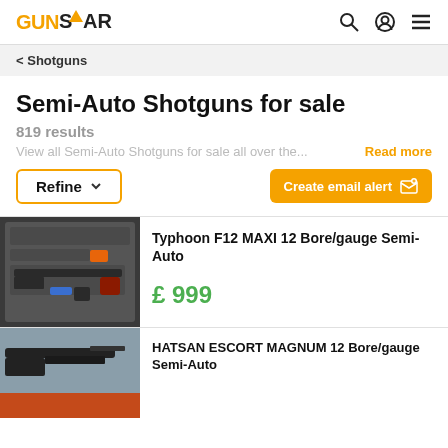GUNSTAR — navigation header with search, account, and menu icons
< Shotguns
Semi-Auto Shotguns for sale
819 results
View all Semi-Auto Shotguns for sale all over the...
Read more
Refine
Create email alert
[Figure (photo): Typhoon F12 MAXI semi-auto shotgun in a black foam-lined hard case with accessories]
Typhoon F12 MAXI 12 Bore/gauge Semi-Auto
£ 999
[Figure (photo): HATSAN ESCORT MAGNUM 12 Bore semi-auto shotgun partial image]
HATSAN ESCORT MAGNUM 12 Bore/gauge Semi-Auto